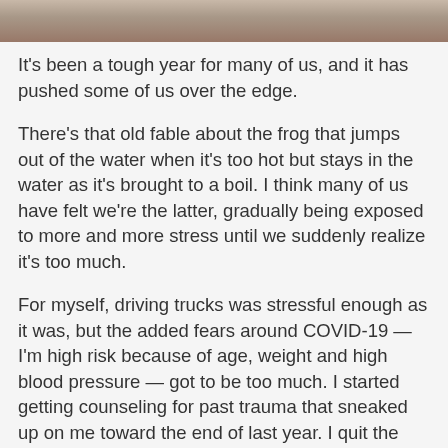[Figure (photo): Partial photo of a person at the top of the page, cropped to show only the top portion]
It's been a tough year for many of us, and it has pushed some of us over the edge.
There's that old fable about the frog that jumps out of the water when it's too hot but stays in the water as it's brought to a boil. I think many of us have felt we're the latter, gradually being exposed to more and more stress until we suddenly realize it's too much.
For myself, driving trucks was stressful enough as it was, but the added fears around COVID-19 — I'm high risk because of age, weight and high blood pressure — got to be too much. I started getting counseling for past trauma that sneaked up on me toward the end of last year. I quit the job.